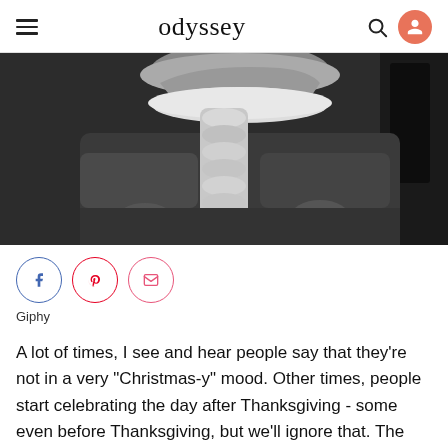odyssey
[Figure (photo): Black and white image of a person wearing a Santa Claus costume, showing the white fluffy trim of the hat and coat. The figure is seated or standing indoors, partially framed.]
Giphy
A lot of times, I see and hear people say that they're not in a very "Christmas-y" mood. Other times, people start celebrating the day after Thanksgiving - some even before Thanksgiving, but we'll ignore that. The holiday season, Christmas, is only as cheerful and "Christmas-y"